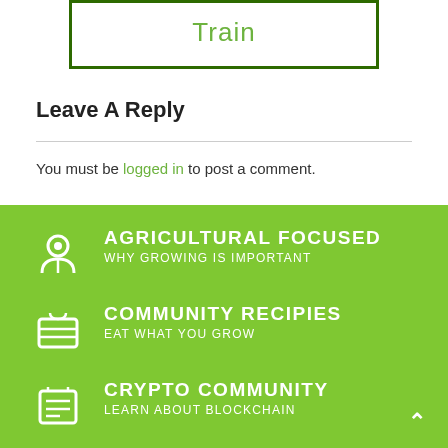[Figure (other): Train button with dark green border and light green text]
Leave A Reply
You must be logged in to post a comment.
AGRICULTURAL FOCUSED
WHY GROWING IS IMPORTANT
COMMUNITY RECIPIES
EAT WHAT YOU GROW
CRYPTO COMMUNITY
LEARN ABOUT BLOCKCHAIN